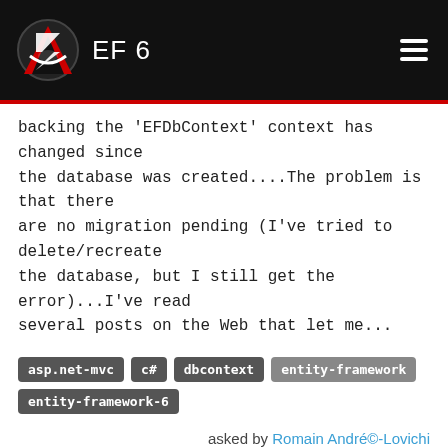EF 6
backing the 'EFDbContext' context has changed since the database was created....The problem is that there are no migration pending (I've tried to delete/recreate the database, but I still get the error)...I've read several posts on the Web that let me...
asp.net-mvc  c#  dbcontext  entity-framework  entity-framework-6
asked by Romain André-Lovichi
This website uses cookies to ensure you get the best experience on our website. Learn more
Entity Framework 6 Code First From Database context performs CREATE TABLE on existing an
Got it!